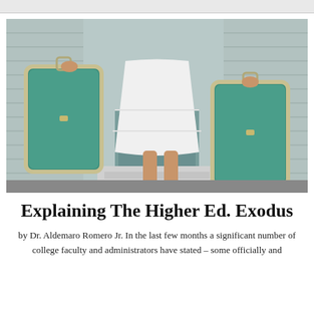[Figure (photo): Lower body of a woman in a white dress holding two large vintage green suitcases, standing at a doorstep with gray siding and blue-green painted walls visible in the background.]
Explaining The Higher Ed. Exodus
by Dr. Aldemaro Romero Jr. In the last few months a significant number of college faculty and administrators have stated – some officially and